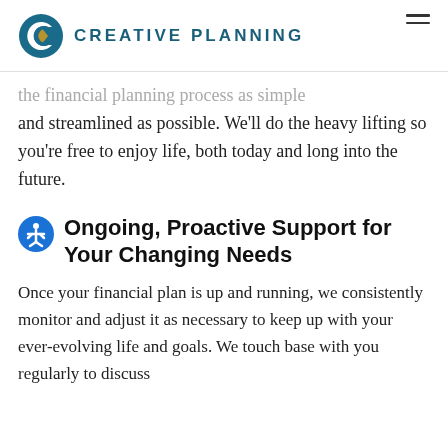CREATIVE PLANNING
the financial planning process as simple and streamlined as possible. We'll do the heavy lifting so you're free to enjoy life, both today and long into the future.
Ongoing, Proactive Support for Your Changing Needs
Once your financial plan is up and running, we consistently monitor and adjust it as necessary to keep up with your ever-evolving life and goals. We touch base with you regularly to discuss